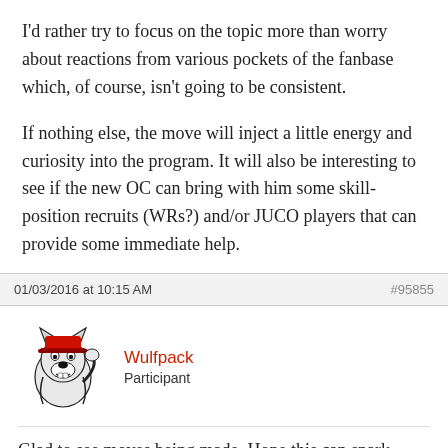I'd rather try to focus on the topic more than worry about reactions from various pockets of the fanbase which, of course, isn't going to be consistent.
If nothing else, the move will inject a little energy and curiosity into the program. It will also be interesting to see if the new OC can bring with him some skill-position recruits (WRs?) and/or JUCO players that can provide some immediate help.
01/03/2016 at 10:15 AM   #95855
[Figure (illustration): NC State Wolfpack mascot logo — a wolf wearing a red cap, black and white illustration]
Wulfpack
Participant
Glad to see moves being made. Hope this can spark something for us. We need it. Go get the best quality and fight like a champion.